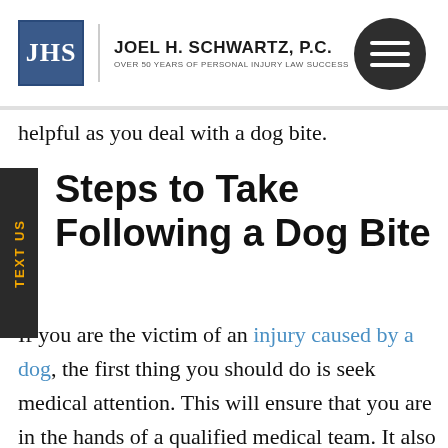Joel H. Schwartz, P.C. — Over 50 Years of Personal Injury Law Success
helpful as you deal with a dog bite.
Steps to Take Following a Dog Bite
If you are the victim of an injury caused by a dog, the first thing you should do is seek medical attention. This will ensure that you are in the hands of a qualified medical team. It also ensures that you document any serious concerns or medical conditions